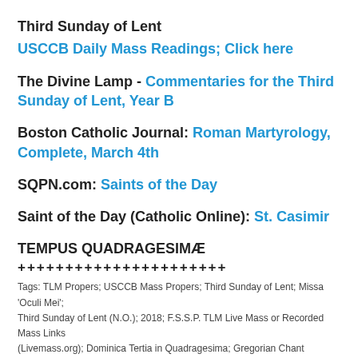Third Sunday of Lent
USCCB Daily Mass Readings; Click here
The Divine Lamp - Commentaries for the Third Sunday of Lent, Year B
Boston Catholic Journal: Roman Martyrology, Complete, March 4th
SQPN.com: Saints of the Day
Saint of the Day (Catholic Online): St. Casimir
TEMPUS QUADRAGESIMÆ
++++++++++++++++++++++
Tags: TLM Propers; USCCB Mass Propers; Third Sunday of Lent; Missa 'Oculi Mei'; Third Sunday of Lent (N.O.); 2018; F.S.S.P. TLM Live Mass or Recorded Mass Links (Livemass.org); Dominica Tertia in Quadragesima; Gregorian Chant Propers; Chanted